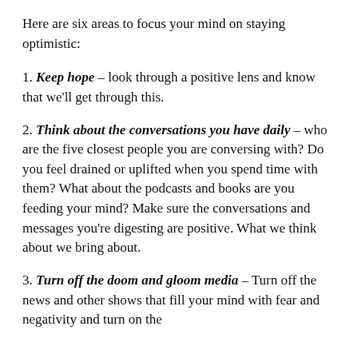Here are six areas to focus your mind on staying optimistic:
1. Keep hope – look through a positive lens and know that we'll get through this.
2. Think about the conversations you have daily – who are the five closest people you are conversing with? Do you feel drained or uplifted when you spend time with them? What about the podcasts and books are you feeding your mind? Make sure the conversations and messages you're digesting are positive. What we think about we bring about.
3. Turn off the doom and gloom media – Turn off the news and other shows that fill your mind with fear and negativity and turn on the